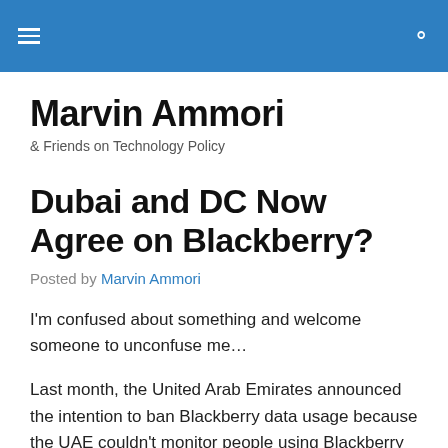Marvin Ammori — [hamburger menu icon] [search icon]
Marvin Ammori
& Friends on Technology Policy
Dubai and DC Now Agree on Blackberry?
Posted by Marvin Ammori
I'm confused about something and welcome someone to unconfuse me…
Last month, the United Arab Emirates announced the intention to ban Blackberry data usage because the UAE couldn't monitor people using Blackberry connections